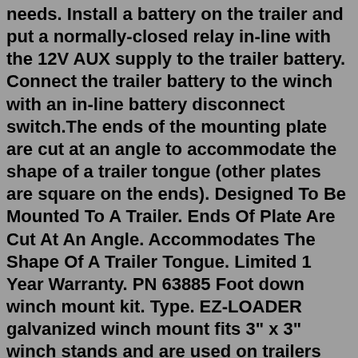needs. Install a battery on the trailer and put a normally-closed relay in-line with the 12V AUX supply to the trailer battery. Connect the trailer battery to the winch with an in-line battery disconnect switch.The ends of the mounting plate are cut at an angle to accommodate the shape of a trailer tongue (other plates are square on the ends). Designed To Be Mounted To A Trailer. Ends Of Plate Are Cut At An Angle. Accommodates The Shape Of A Trailer Tongue. Limited 1 Year Warranty. PN 63885 Foot down winch mount kit. Type. EZ-LOADER galvanized winch mount fits 3" x 3" winch stands and are used on trailers with a capacity from 2,350 lbs. to 5,200 lbs. Winch mount bracket bolts to trailer winch post for attachment of trailer winch and bow stop roller assembly. Mounting hardware sold separately. $137.95. Apr 21, 2005. Messages. 21,460. Nov 13, 2016. #5. I was given a 5,000# Warn winch that I installed on my car hauler without drilling any holes. I had some heavy gauge wire I lengthened leads. A heavy duty jumper cable I can reach the battery